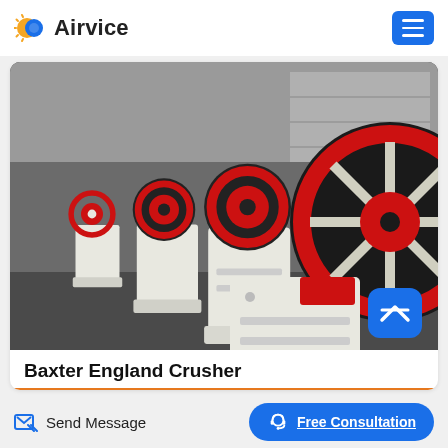Airvice
[Figure (photo): Multiple Baxter England jaw crusher machines lined up in a factory/warehouse setting. The machines are white/cream colored with red and black flywheel pulleys. Several units visible in perspective, with large black and red belt wheels prominent in the foreground.]
Baxter England Crusher
Send Message
Free Consultation